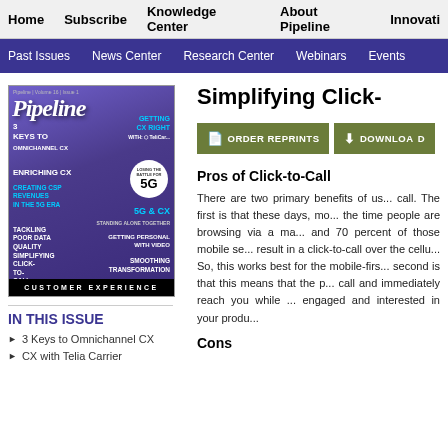Home  Subscribe  Knowledge Center  About Pipeline  Innovati...
Past Issues  News Center  Research Center  Webinars  Events
[Figure (photo): Pipeline magazine cover featuring a woman jumping with arms raised, with text about 5G, CX, and other telecom topics]
IN THIS ISSUE
3 Keys to Omnichannel CX
CX with Telia Carrier
Simplifying Click-
ORDER REPRINTS
DOWNLOAD
Pros of Click-to-Call
There are two primary benefits of us... call. The first is that these days, mo... the time people are browsing via a ma... and 70 percent of those mobile se... result in a click-to-call over the cellu... So, this works best for the mobile-firs... second is that this means that the p... call and immediately reach you while ... engaged and interested in your produ...
Cons